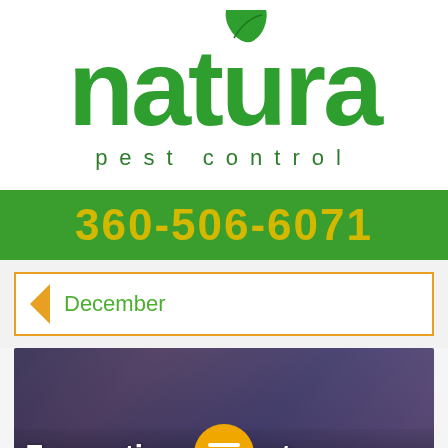[Figure (logo): Natura Pest Control logo - large green 'natura' text with leaf decoration above letter t, and 'pest control' in smaller spaced letters below]
360-506-6071
December
[Figure (photo): Article preview image with dark purple/blue blurred background showing person, with white bold text overlay reading '7 questions about pests you too afraid', with a yellow chat bubble icon and green accessibility icon overlaid]